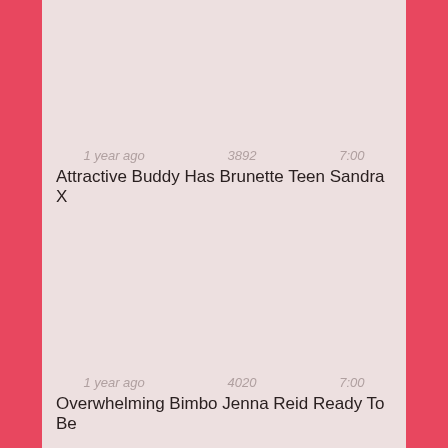1 year ago   3892   7:00
Attractive Buddy Has Brunette Teen Sandra X
1 year ago   4020   7:00
Overwhelming Bimbo Jenna Reid Ready To Be